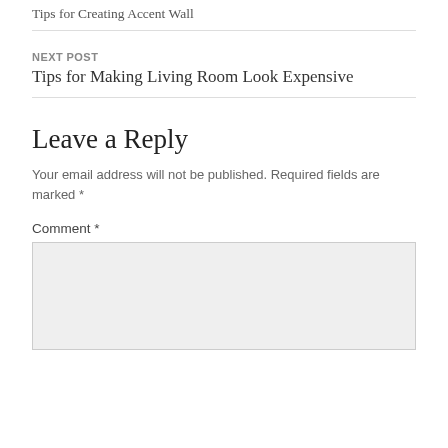Tips for Creating Accent Wall
NEXT POST
Tips for Making Living Room Look Expensive
Leave a Reply
Your email address will not be published. Required fields are marked *
Comment *